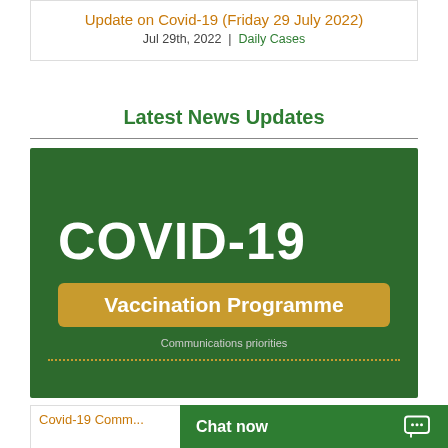Update on Covid-19 (Friday 29 July 2022)
Jul 29th, 2022 | Daily Cases
Latest News Updates
[Figure (infographic): Dark green banner showing 'COVID-19' in large white bold text, below it a golden/yellow bar with 'Vaccination Programme' in white bold text, below that 'Communications priorities' in small light text, followed by a dotted golden line near the bottom.]
Covid-19 Comm...
Chat now